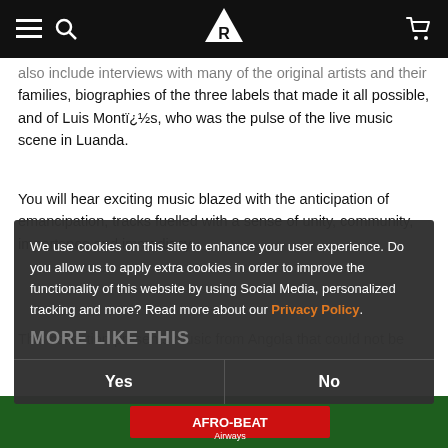Navigation bar with menu, search, logo, and cart icons
also include interviews with many of the original artists and their families, biographies of the three labels that made it all possible, and of Luis Montï¿½s, who was the pulse of the live music scene in Luanda.
You will hear exciting music blazed with the anticipation of emancipation, tracks fuelled with a sense of unity, community, importance and immediacy.
This collection presents music from Angola that could not be
We use cookies on this site to enhance your user experience. Do you allow us to apply extra cookies in order to improve the functionality of this website by using Social Media, personalized tracking and more? Read more about our Privacy Policy.
MORE LIKE THIS
[Figure (photo): Partial view of album cover showing AFRO-BEAT Airways text on green background]